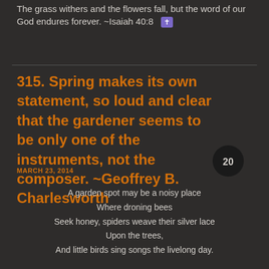The grass withers and the flowers fall, but the word of our God endures forever. ~Isaiah 40:8 ✝
315. Spring makes its own statement, so loud and clear that the gardener seems to be only one of the instruments, not the composer. ~Geoffrey B. Charlesworth
MARCH 23, 2014
A garden spot may be a noisy place
Where droning bees
Seek honey, spiders weave their silver lace
Upon the trees,
And little birds sing songs the livelong day.

Or it may be so silent that it seems
The flowers sleep,
And shy, mysterious virgin dreams
Their vigil keep,
And God communes with earth the livelong day.
Bringle Peach